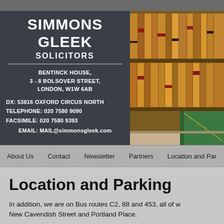[Figure (screenshot): Simmons Gleek Solicitors website header with firm name, address, contact details on dark background, and a photo of law books on shelves with a green book/binder visible]
SIMMONS GLEEK SOLICITORS — BENTINCK HOUSE, 3 - 8 BOLSOVER STREET, LONDON, W1W 6AB — DX: 53816 OXFORD CIRCUS NORTH — TELEPHONE: 020 7580 9090 FACSIMILE: 020 7580 9393 — EMAIL: MAIL@simmonsgleek.com
About Us | Contact | Newsletter | Partners | Location and Parking
Location and Parking
In addition, we are on Bus routes C2, 88 and 453, all of which pass New Cavendish Street and Portland Place.
There are several public car parks within easy walking distance of our offices, namely in Clipstone Street, Cavendish Square...